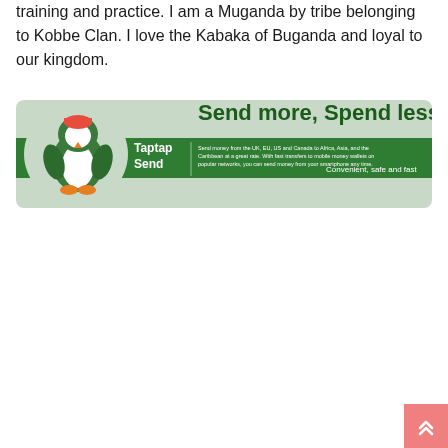training and practice. I am a Muganda by tribe belonging to Kobbe Clan. I love the Kabaka of Buganda and loyal to our kingdom.
[Figure (infographic): Taptap Send advertisement banner. Green background with white penguin logo on left. Large bold text 'Send more, Spend less'. Smaller text: 'Send money from the UK, EU, US and Canada to Africa, Asia, and the Caribbean at a great rate. With fast transfers to mobile money wallets on popular networks, you can send money from your smartphone any time.' Right side text: 'Convenient, safe and fast']